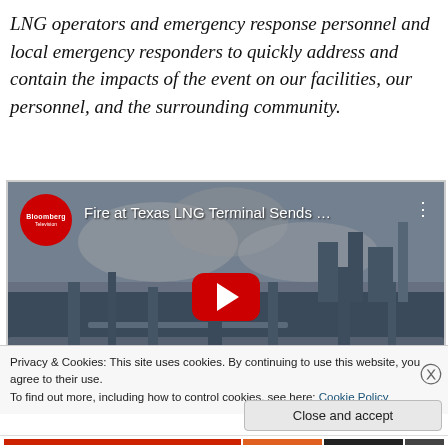LNG operators and emergency response personnel and local emergency responders to quickly address and contain the impacts of the event on our facilities, our personnel, and the surrounding community.
[Figure (screenshot): YouTube video thumbnail from Bloomberg Television showing 'Fire at Texas LNG Terminal Sends ...' with a red play button overlay on an industrial facility image. A cookie consent notice appears at the bottom with 'Close and accept' button.]